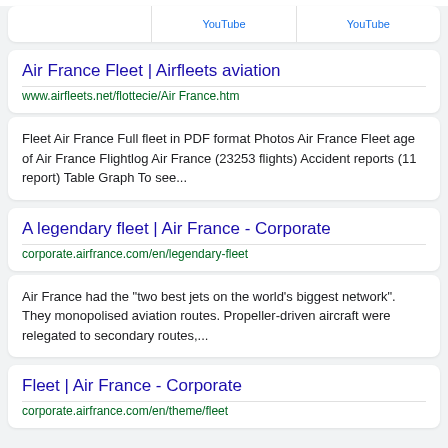YouTube | YouTube
Air France Fleet | Airfleets aviation
www.airfleets.net/flottecie/Air France.htm
Fleet Air France Full fleet in PDF format Photos Air France Fleet age of Air France Flightlog Air France (23253 flights) Accident reports (11 report) Table Graph To see...
A legendary fleet | Air France - Corporate
corporate.airfrance.com/en/legendary-fleet
Air France had the "two best jets on the world's biggest network". They monopolised aviation routes. Propeller-driven aircraft were relegated to secondary routes,...
Fleet | Air France - Corporate
corporate.airfrance.com/en/theme/fleet